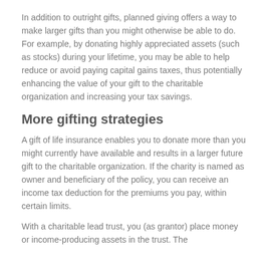In addition to outright gifts, planned giving offers a way to make larger gifts than you might otherwise be able to do. For example, by donating highly appreciated assets (such as stocks) during your lifetime, you may be able to help reduce or avoid paying capital gains taxes, thus potentially enhancing the value of your gift to the charitable organization and increasing your tax savings.
More gifting strategies
A gift of life insurance enables you to donate more than you might currently have available and results in a larger future gift to the charitable organization. If the charity is named as owner and beneficiary of the policy, you can receive an income tax deduction for the premiums you pay, within certain limits.
With a charitable lead trust, you (as grantor) place money or income-producing assets in the trust. The